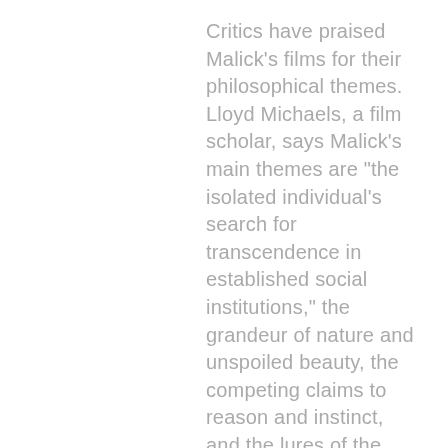Critics have praised Malick's films for their philosophical themes. Lloyd Michaels, a film scholar, says Malick's main themes are "the isolated individual's search for transcendence in established social institutions," the grandeur of nature and unspoiled beauty, the competing claims to reason and instinct, and the lures of the open road. Days of Heaven was one of the acclaimed films that he deemed important in the American film revolution of the 1970s. Michaels claimed that Days of Heaven is a unique type of Western. It examines "certain national myths," such as the migration westward, personal success, and clashing agrarian/industrial economies. Roger Ebert deemed Malick's work to share a common theme: "Human life diminishes beneath the overarching beauty